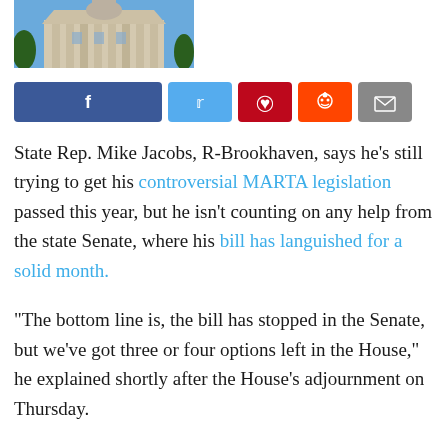[Figure (photo): Photo of a building exterior, likely a government/capitol building with ornate architecture, trees visible in foreground.]
[Figure (infographic): Social sharing buttons row: Facebook (blue), Twitter (light blue), Pinterest (red), Reddit (orange), Email (gray)]
State Rep. Mike Jacobs, R-Brookhaven, says he's still trying to get his controversial MARTA legislation passed this year, but he isn't counting on any help from the state Senate, where his bill has languished for a solid month.
“The bottom line is, the bill has stopped in the Senate, but we’ve got three or four options left in the House,” he explained shortly after the House’s adjournment on Thursday.
No one’s told Jacobs why his HB 264 was buried in